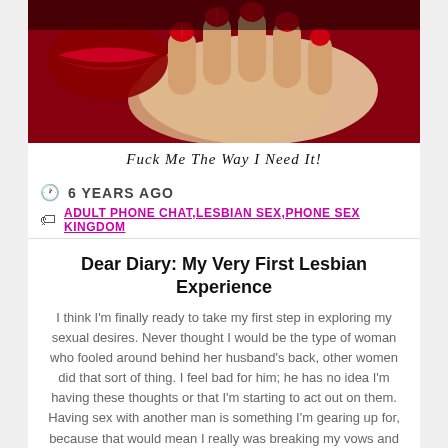[Figure (photo): Close-up photo of red lips and hand with red fingernails against a red background, with italic caption text 'Fuck Me The Way I Need It!']
6 YEARS AGO
ADULT PHONE CHAT,LESBIAN SEX,PHONE SEX KINGDOM
Dear Diary: My Very First Lesbian Experience
I think I'm finally ready to take my first step in exploring my sexual desires. Never thought I would be the type of woman who fooled around behind her husband's back, other women did that sort of thing. I feel bad for him; he has no idea I'm having these thoughts or that I'm starting to act out on them. Having sex with another man is something I'm gearing up for, because that would mean I really was breaking my vows and it's a big step. Instead I'm going to bend the rules a bit and engage in my first lesbian experience. I find women attractive; they're so much softer and playful then men are plus they know how great foreplay is. Men are rougher and more